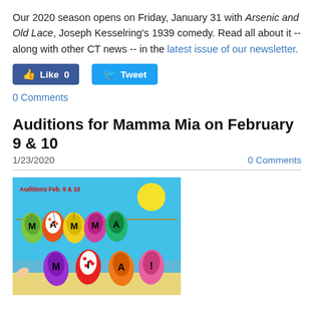Our 2020 season opens on Friday, January 31 with Arsenic and Old Lace, Joseph Kesselring's 1939 comedy. Read all about it -- along with other CT news -- in the latest issue of our newsletter.
[Figure (screenshot): Facebook Like button showing 0 likes and Twitter Tweet button]
0 Comments
Auditions for Mamma Mia on February 9 & 10
1/23/2020   0 Comments
[Figure (illustration): Mamma Mia auditions promotional image with colorful flip flops spelling MAMMA MIA! on a clothesline against a blue sky beach background. Text reads Auditions Feb. 9 & 10]